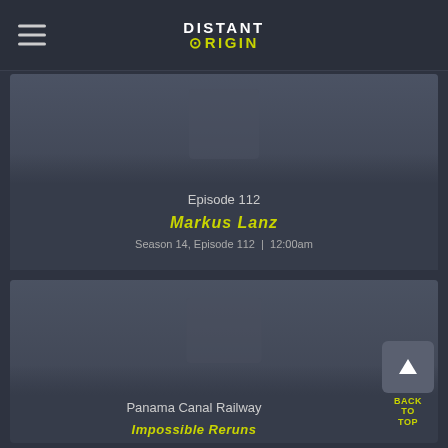DISTANT ORIGIN
Episode 112
Markus Lanz
Season 14, Episode 112  |  12:00am
Panama Canal Railway
Impossible Reruns